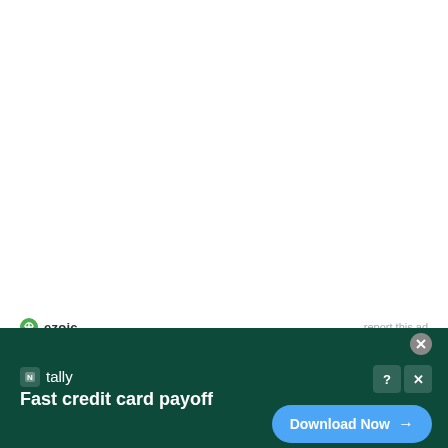[Figure (logo): Ezoic logo with green circle icon and text 'ezoic', with 'report this ad' text on the right]
Search ...
[Figure (infographic): Tally app advertisement banner with dark green background. Shows Tally logo, text 'Fast credit card payoff', close button, help/close controls, and a blue 'Download Now' button with arrow.]